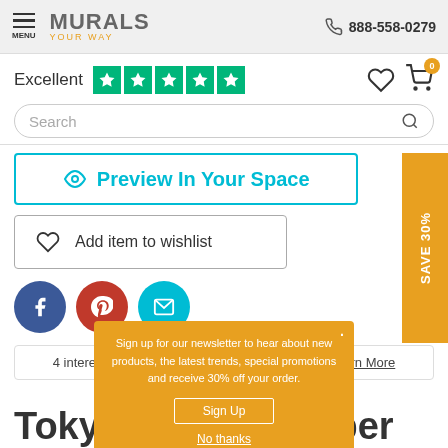MURALS YOUR WAY — 888-558-0279
Excellent ★★★★★
Search
Preview In Your Space
Add item to wishlist
4 interest-free payments of $41.01 with Klarna. Learn More
Sign up for our newsletter to hear about new products, the latest trends, special promotions and receive 30% off your order.
Sign Up
No thanks
Tokyo  aper